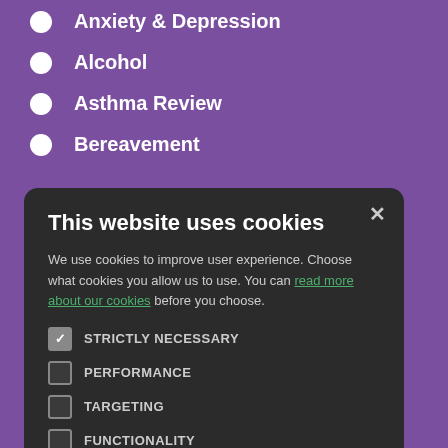Anxiety & Depression
Alcohol
Asthma Review
Bereavement
[Figure (screenshot): Cookie consent modal dialog with title 'This website uses cookies', body text, four checkbox options (Strictly Necessary checked, Performance, Targeting, Functionality unchecked), and two buttons: Accept All (green) and Decline All (outline).]